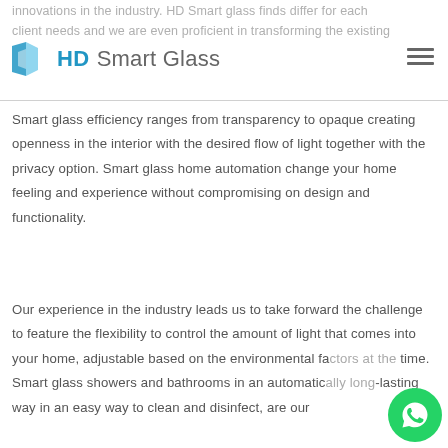innovations in the industry. HD Smart glass finds differ for each client needs and we are even proficient in transforming the existing
[Figure (logo): HD Smart Glass logo with blue faceted diamond shape icon and HD Smart Glass text in blue and grey]
Smart glass efficiency ranges from transparency to opaque creating openness in the interior with the desired flow of light together with the privacy option. Smart glass home automation change your home feeling and experience without compromising on design and functionality.
Our experience in the industry leads us to take forward the challenge to feature the flexibility to control the amount of light that comes into your home, adjustable based on the environmental fa... time. Smart glass showers and bathrooms in an automatic... lasting way in an easy way to clean and disinfect, are our...